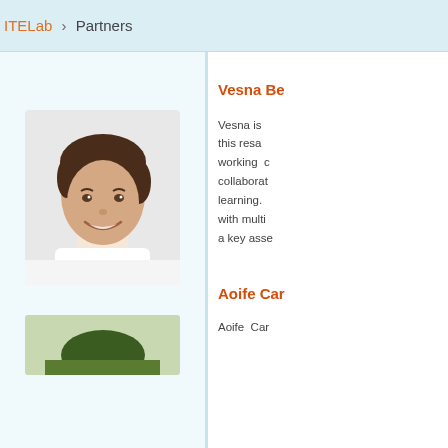ITELab · Partners
[Figure (photo): Headshot photo of a smiling woman with dark hair pulled back, wearing a white top, against a white background.]
Vesna Be
Vesna is this resa working c collaborat learning. with multi a key asse
Aoife Car
[Figure (photo): Partial headshot photo of a person, partially cropped at the bottom of the page.]
Aoife Car